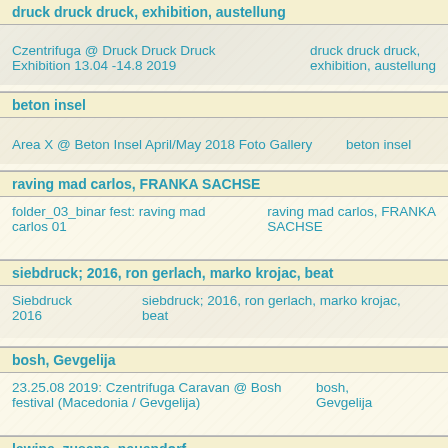druck druck druck, exhibition, austellung
| Czentrifuga @ Druck Druck Druck Exhibition 13.04 -14.8 2019 | druck druck druck, exhibition, austellung |
beton insel
| Area X @ Beton Insel April/May 2018 Foto Gallery | beton insel |
raving mad carlos, FRANKA SACHSE
| folder_03_binar fest: raving mad carlos 01 | raving mad carlos, FRANKA SACHSE |
siebdruck; 2016, ron gerlach, marko krojac, beat
| Siebdruck 2016 | siebdruck; 2016, ron gerlach, marko krojac, beat |
bosh, Gevgelija
| 23.25.08 2019: Czentrifuga Caravan @ Bosh festival (Macedonia / Gevgelija) | bosh, Gevgelija |
lawine, zusane, neuendorf
| neuendorf 2020 | lawine, zusane, neuendorf |